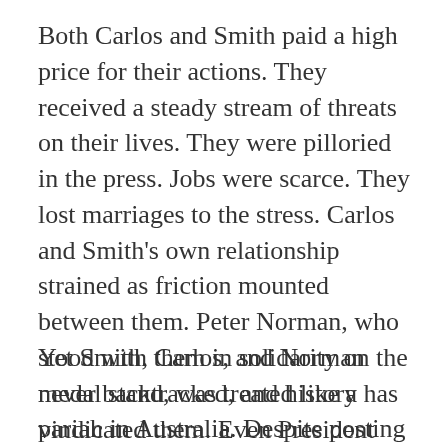Both Carlos and Smith paid a high price for their actions. They received a steady stream of threats on their lives. They were pilloried in the press. Jobs were scarce. They lost marriages to the stress. Carlos and Smith's own relationship strained as friction mounted between them. Peter Norman, who stood with them in solidarity on the medal stand, was treated like a pariah in Australia. Despite posting times that would qualify him for the 1972 Games, he was cut from the Australia squad. When Sydney hosted the 2000 Olympics, Norman was not officially acknowledged.
Yet Smith, Carlos, and Norman never backtracked, and history has vindicated them. Even President Barack Obama publicly praised